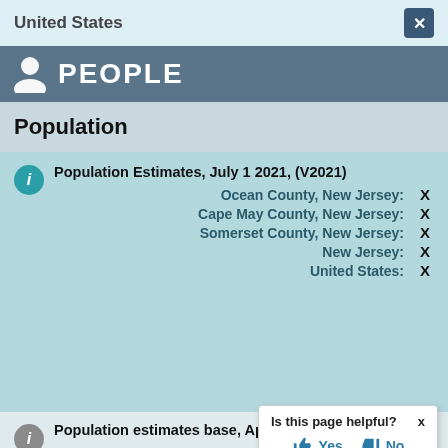United States
PEOPLE
Population
Population Estimates, July 1 2021, (V2021)
| Location | Value |
| --- | --- |
| Ocean County, New Jersey: | X |
| Cape May County, New Jersey: | X |
| Somerset County, New Jersey: | X |
| New Jersey: | X |
| United States: | X |
Population estimates base, Ap
Ocean Co